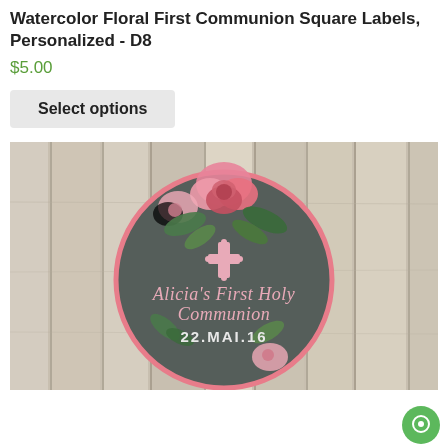Watercolor Floral First Communion Square Labels, Personalized - D8
$5.00
Select options
[Figure (photo): Product photo of a round First Communion label on a rustic wood plank background. The circular label has a dark charcoal background with pink watercolor flowers and green leaves at the top, a pink decorative cross in the center, and script text reading "Alicia's First Holy Communion" with "22.MAI.16" below. A pink circular border outlines the label.]